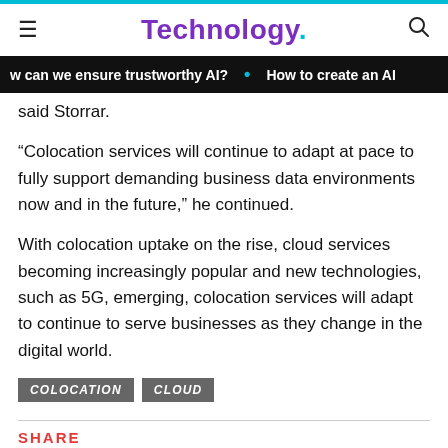Technology.
w can we ensure trustworthy AI? · How to create an AI
said Storrar.
“Colocation services will continue to adapt at pace to fully support demanding business data environments now and in the future,” he continued.
With colocation uptake on the rise, cloud services becoming increasingly popular and new technologies, such as 5G, emerging, colocation services will adapt to continue to serve businesses as they change in the digital world.
COLOCATION
CLOUD
SHARE